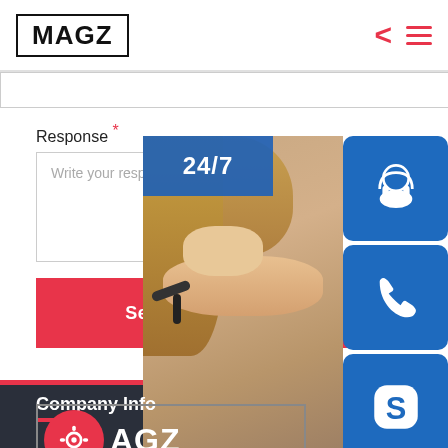MAGZ
Response *
Write your response ...
Send Response
[Figure (screenshot): Customer support widget showing 24/7 banner, woman with headset, phone icon, Skype icon, and 'online live' button]
Company Info
[Figure (logo): MAGZ logo with gear icon in red circle, dark footer version]